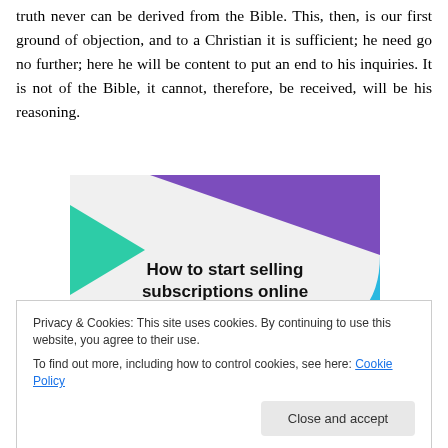truth never can be derived from the Bible. This, then, is our first ground of objection, and to a Christian it is sufficient; he need go no further; here he will be content to put an end to his inquiries. It is not of the Bible, it cannot, therefore, be received, will be his reasoning.
[Figure (illustration): Advertisement image showing geometric shapes (purple triangle top, teal triangle left, cyan arc right) on light background with bold text: How to start selling subscriptions online]
Privacy & Cookies: This site uses cookies. By continuing to use this website, you agree to their use. To find out more, including how to control cookies, see here: Cookie Policy